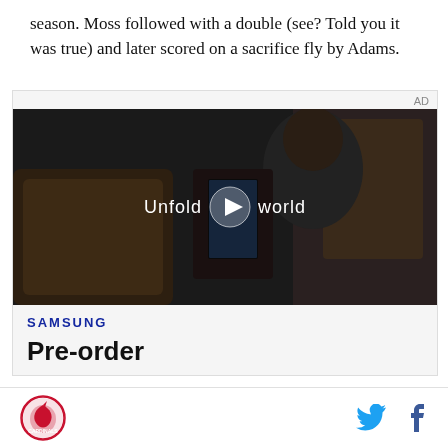season. Moss followed with a double (see? Told you it was true) and later scored on a sacrifice fly by Adams.
[Figure (screenshot): Advertisement: Samsung video ad showing a woman holding a folding phone in a car, with 'Unfold your world' text overlay and a play button. Below the video area shows the Samsung logo and 'Pre-order' text.]
Cardinals logo, Twitter icon, Facebook icon